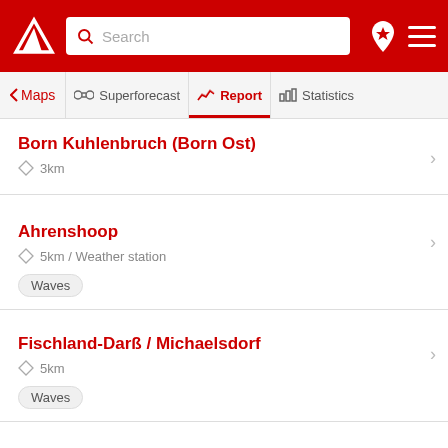[Figure (screenshot): App header with red background, logo (white triangle/arrow), search bar, location pin icon, and hamburger menu icon]
[Figure (screenshot): Navigation tab bar with Maps (back arrow), Superforecast (binoculars icon), Report (active, chart icon, red underline), Statistics (bar chart icon)]
Born Kuhlenbruch (Born Ost)
◇ 3km
Ahrenshoop
◇ 5km / Weather station
Waves
Fischland-Darß / Michaelsdorf
◇ 5km
Waves